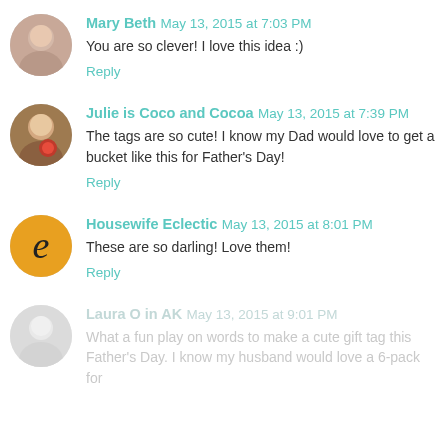Mary Beth  May 13, 2015 at 7:03 PM
You are so clever! I love this idea :)
Reply
Julie is Coco and Cocoa  May 13, 2015 at 7:39 PM
The tags are so cute! I know my Dad would love to get a bucket like this for Father's Day!
Reply
Housewife Eclectic  May 13, 2015 at 8:01 PM
These are so darling! Love them!
Reply
Laura O in AK  May 13, 2015 at 9:01 PM
What a fun play on words to make a cute gift tag this Father's Day. I know my husband would love a 6-pack for